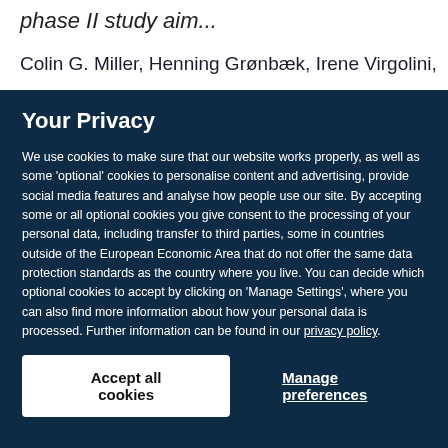phase II study aim...
Colin G. Miller, Henning Grønbæk, Irene Virgolini,
Your Privacy
We use cookies to make sure that our website works properly, as well as some 'optional' cookies to personalise content and advertising, provide social media features and analyse how people use our site. By accepting some or all optional cookies you give consent to the processing of your personal data, including transfer to third parties, some in countries outside of the European Economic Area that do not offer the same data protection standards as the country where you live. You can decide which optional cookies to accept by clicking on 'Manage Settings', where you can also find more information about how your personal data is processed. Further information can be found in our privacy policy.
Accept all cookies
Manage preferences